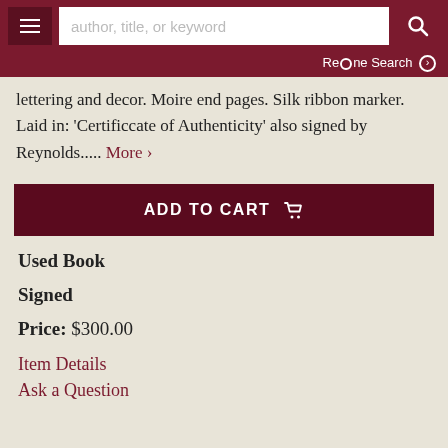author, title, or keyword | Re·ne Search
lettering and decor. Moire end pages. Silk ribbon marker. Laid in: 'Certificcate of Authenticity' also signed by Reynolds..... More ›
ADD TO CART
Used Book
Signed
Price: $300.00
Item Details
Ask a Question